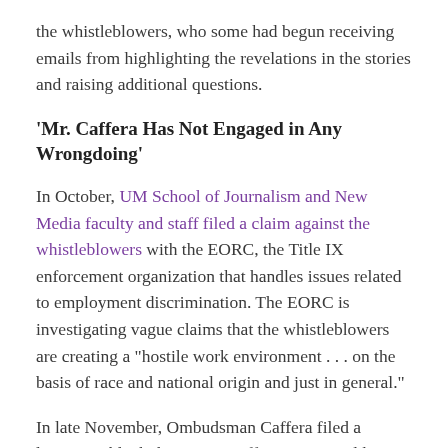the whistleblowers, who some had begun receiving emails from highlighting the revelations in the stories and raising additional questions.
'Mr. Caffera Has Not Engaged in Any Wrongdoing'
In October, UM School of Journalism and New Media faculty and staff filed a claim against the whistleblowers with the EORC, the Title IX enforcement organization that handles issues related to employment discrimination. The EORC is investigating vague claims that the whistleblowers are creating a "hostile work environment . . . on the basis of race and national origin and just in general."
In late November, Ombudsman Caffera filed a lawsuit to block the EORC's efforts to compel him to disclose information or to access his emails and private communications. The lawsuit, which this publication accessed online through Lafayette County court files,